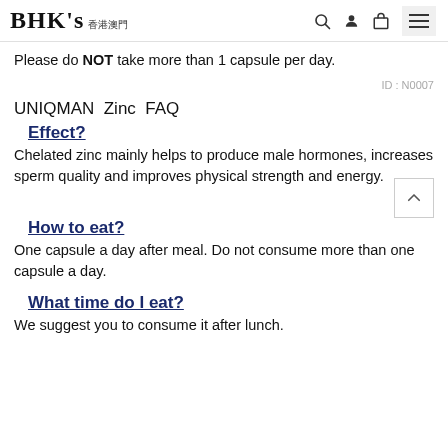BHK's 香港澳門
Please do NOT take more than 1 capsule per day.
ID : N0007
UNIQMAN Zinc FAQ
Effect?
Chelated zinc mainly helps to produce male hormones, increases sperm quality and improves physical strength and energy.
How to eat?
One capsule a day after meal. Do not consume more than one capsule a day.
What time do I eat?
We suggest you to consume it after lunch.